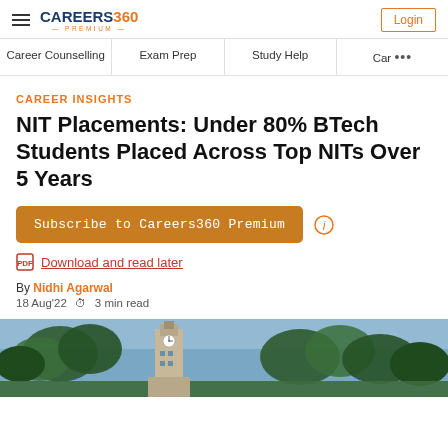CAREERS360 PREMIUM — Login
Career Counselling | Exam Prep | Study Help | Car ...
CAREER INSIGHTS
NIT Placements: Under 80% BTech Students Placed Across Top NITs Over 5 Years
Subscribe to Careers360 Premium
Download and read later
By Nidhi Agarwal
18 Aug'22  3 min read
[Figure (photo): Exterior photo of an NIT campus building with a clock tower surrounded by trees]